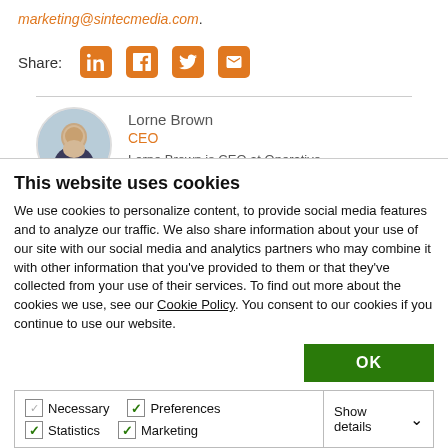marketing@sintecmedia.com.
Share:
Lorne Brown
CEO
Lorne Brown is CEO at Operative
This website uses cookies
We use cookies to personalize content, to provide social media features and to analyze our traffic. We also share information about your use of our site with our social media and analytics partners who may combine it with other information that you've provided to them or that they've collected from your use of their services. To find out more about the cookies we use, see our Cookie Policy. You consent to our cookies if you continue to use our website.
OK
Necessary  Preferences  Statistics  Marketing  Show details